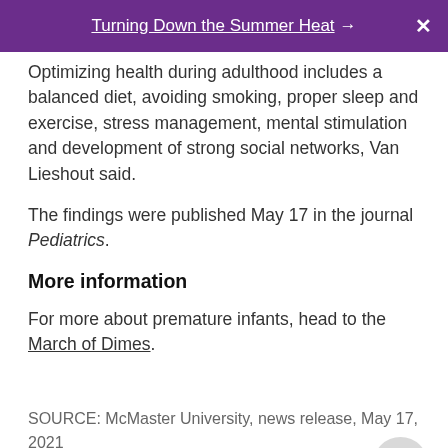Turning Down the Summer Heat →
Optimizing health during adulthood includes a balanced diet, avoiding smoking, proper sleep and exercise, stress management, mental stimulation and development of strong social networks, Van Lieshout said.
The findings were published May 17 in the journal Pediatrics.
More information
For more about premature infants, head to the March of Dimes.
SOURCE: McMaster University, news release, May 17, 2021